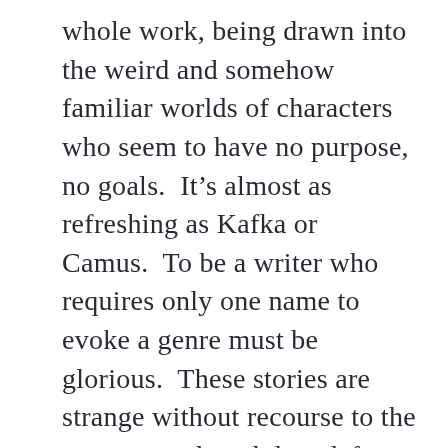whole work, being drawn into the weird and somehow familiar worlds of characters who seem to have no purpose, no goals.  It’s almost as refreshing as Kafka or Camus.  To be a writer who requires only one name to evoke a genre must be glorious.  These stories are strange without recourse to the supernatural, and they defy easy genre assignment.  (This makes publishers crazy.)